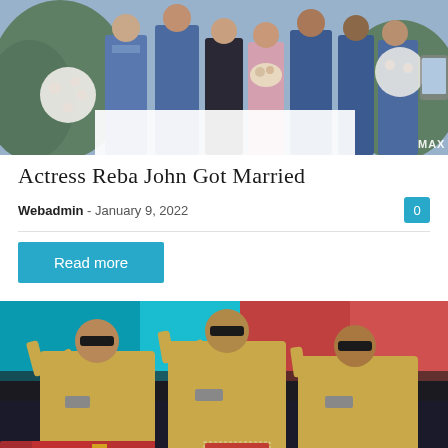[Figure (photo): Wedding group photo showing several men in blue suits and a woman in blue dress at an outdoor venue decorated with flowers. Watermark 'MAX' visible bottom right.]
Actress Reba John Got Married
Webadmin - January 9, 2022
Read more
[Figure (photo): Three men dressed as police officers in khaki uniforms saluting, with colorful stage lighting in background. 'POLICE' signs visible. Watermark 'MAX' bottom right.]